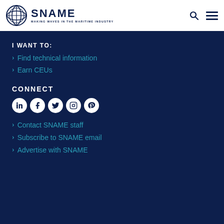SNAME — MAKING WAVES IN THE MARITIME INDUSTRY
I WANT TO:
Find technical information
Earn CEUs
CONNECT
[Figure (infographic): Social media icons: LinkedIn, Facebook, Twitter, Instagram, Pinterest]
Contact SNAME staff
Subscribe to SNAME email
Advertise with SNAME